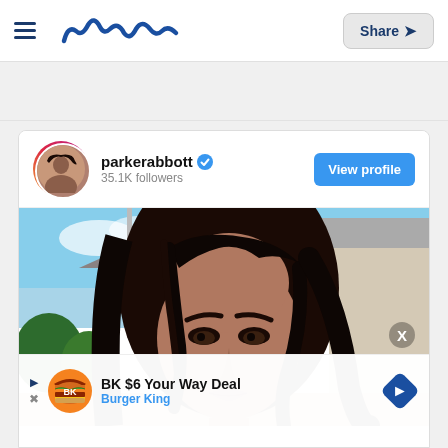≡ Meaww  Share ↗
parkerabbott ✓  35.1K followers  View profile
[Figure (photo): Close-up portrait of a young woman with long dark hair, smokey eye makeup, outdoors with blue sky and building in background. Burger King ad overlay at bottom: 'BK $6 Your Way Deal – Burger King']
BK $6 Your Way Deal
Burger King